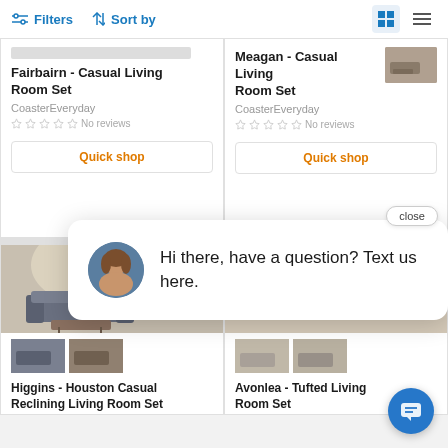Filters  Sort by
Fairbairn - Casual Living Room Set
CoasterEveryday
No reviews
Meagan - Casual Living Room Set
CoasterEveryday
No reviews
[Figure (screenshot): Quick shop button for Fairbairn product]
[Figure (screenshot): Quick shop button for Meagan product]
[Figure (photo): Higgins - Houston Casual Reclining Living Room Set product image with two thumbnail images]
Higgins - Houston Casual Reclining Living Room Set
[Figure (photo): Avonlea - Tufted Living Room Set product image with two thumbnail images]
Avonlea - Tufted Living Room Set
[Figure (screenshot): Chat popup: Hi there, have a question? Text us here.]